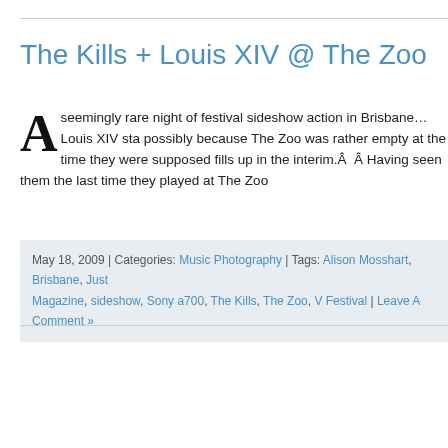The Kills + Louis XIV @ The Zoo
A seemingly rare night of festival sideshow action in Brisbane… Louis XIV sta possibly because The Zoo was rather empty at the time they were supposed fills up in the interim.Â  Â Having seen them the last time they played at The Zoo
May 18, 2009 | Categories: Music Photography | Tags: Alison Mosshart, Brisbane, Jus Magazine, sideshow, Sony a700, The Kills, The Zoo, V Festival | Leave A Comment »